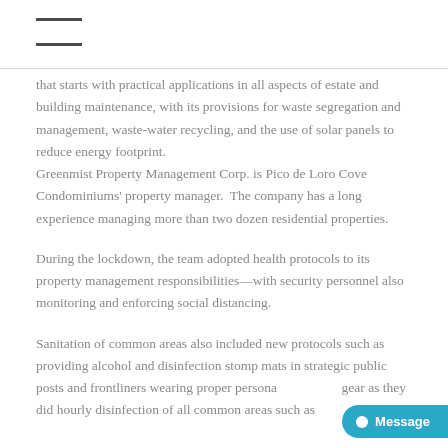≡
that starts with practical applications in all aspects of estate and building maintenance, with its provisions for waste segregation and management, waste-water recycling, and the use of solar panels to reduce energy footprint.
Greenmist Property Management Corp. is Pico de Loro Cove Condominiums' property manager.  The company has a long experience managing more than two dozen residential properties.
During the lockdown, the team adopted health protocols to its property management responsibilities—with security personnel also monitoring and enforcing social distancing.
Sanitation of common areas also included new protocols such as providing alcohol and disinfection stomp mats in strategic public posts and frontliners wearing proper personal protective gear as they did hourly disinfection of all common areas such as